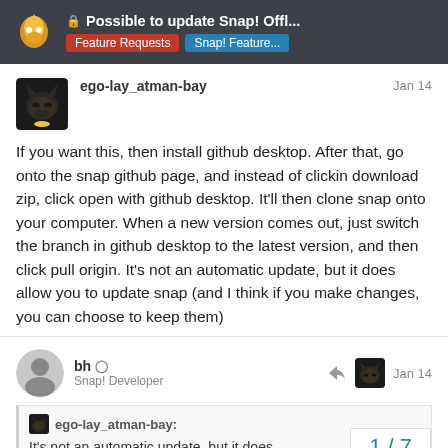Possible to update Snap! Offl... | Feature Requests | Snap! Feature...
ego-lay_atman-bay — Jan 14
If you want this, then install github desktop. After that, go onto the snap github page, and instead of clickin download zip, click open with github desktop. It'll then clone snap onto your computer. When a new version comes out, just switch the branch in github desktop to the latest version, and then click pull origin. It's not an automatic update, but it does allow you to update snap (and I think if you make changes, you can choose to keep them)
bh — Snap! Developer — Jan 14
ego-lay_atman-bay: It's not an automatic update, but it does
1 / 7